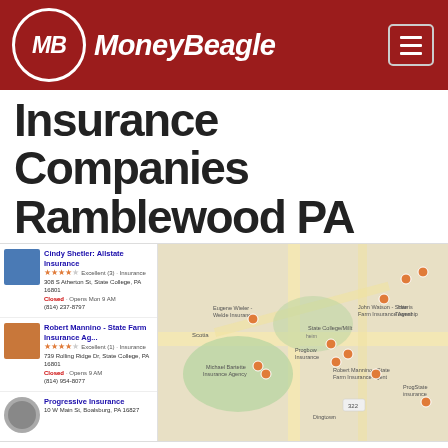[Figure (logo): MoneyBeagle logo with MB initials in circle on dark red background header]
Insurance Companies Ramblewood PA
[Figure (screenshot): Google Maps screenshot showing local insurance company listings with map pins for Ramblewood PA area including Cindy Shetler Allstate Insurance, Robert Mannino State Farm Insurance Agency, Progressive Insurance]
Compare Cheap Car Insurance Quotes Now
Enter Zip
Get Rates >